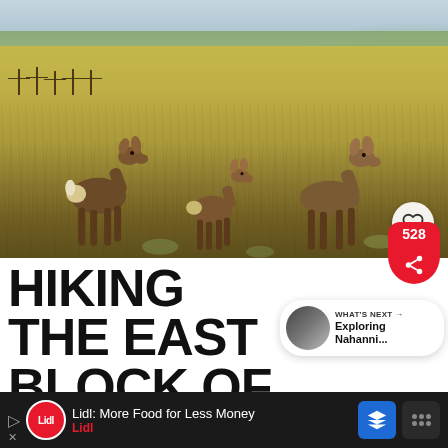[Figure (photo): Three mule deer walking through golden grasslands prairie with a pale blue sky and rolling hills in the background; fence posts visible in the far left; a heart/like button overlay in the lower right corner of the image]
HIKING THE EAST BLOCK OF GRASSLANDS
528
WHAT'S NEXT → Exploring Nahanni...
Lidl: More Food for Less Money Lidl